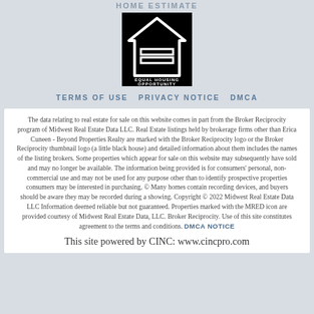HOME ESTIMATE
[Figure (logo): Equal Housing Opportunity logo — white house outline with equals sign on black background, text reads EQUAL HOUSING OPPORTUNITY]
TERMS OF USE   PRIVACY NOTICE   DMCA
The data relating to real estate for sale on this website comes in part from the Broker Reciprocity program of Midwest Real Estate Data LLC. Real Estate listings held by brokerage firms other than Erica Cuneen - Beyond Properties Realty are marked with the Broker Reciprocity logo or the Broker Reciprocity thumbnail logo (a little black house) and detailed information about them includes the names of the listing brokers. Some properties which appear for sale on this website may subsequently have sold and may no longer be available. The information being provided is for consumers' personal, non-commercial use and may not be used for any purpose other than to identify prospective properties consumers may be interested in purchasing. © Many homes contain recording devices, and buyers should be aware they may be recorded during a showing. Copyright © 2022 Midwest Real Estate Data LLC Information deemed reliable but not guaranteed. Properties marked with the MRED icon are provided courtesy of Midwest Real Estate Data, LLC. Broker Reciprocity. Use of this site constitutes agreement to the terms and conditions. DMCA NOTICE
This site powered by CINC: www.cincpro.com